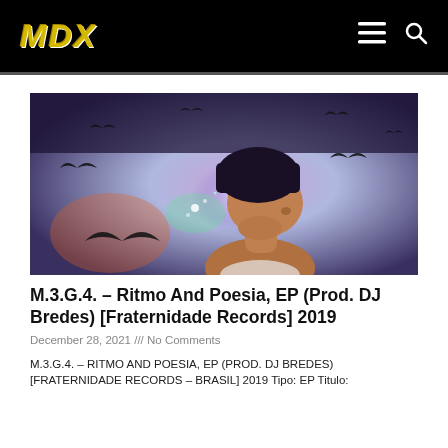MDX
[Figure (photo): A man looking upward against a surreal background with scattered bird silhouettes and colorful light effects]
M.3.G.4. – Ritmo And Poesia, EP (Prod. DJ Bredes) [Fraternidade Records] 2019
December 28, 2021 /// No Comments
M.3.G.4. – RITMO AND POESIA, EP (PROD. DJ BREDES) [FRATERNIDADE RECORDS – BRASIL] 2019 Tipo: EP Titulo: